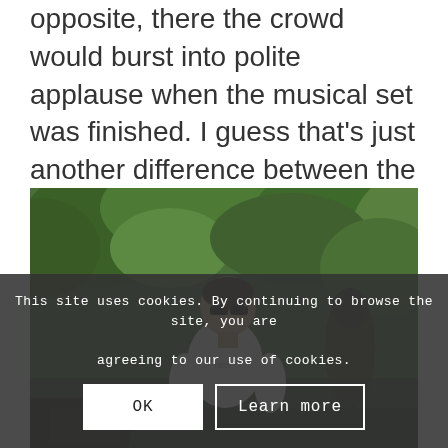they'd go away. In London it was the opposite, there the crowd would burst into polite applause when the musical set was finished. I guess that's just another difference between the French and the British. Here are some of the musicians we've come across around Paris.
[Figure (photo): A man wearing sunglasses and a white t-shirt standing outdoors with green foliage/bushes in the background, partially obscured by a cookie consent overlay.]
This site uses cookies. By continuing to browse the site, you are agreeing to our use of cookies.